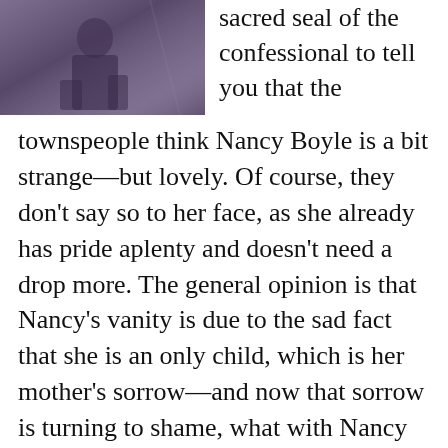[Figure (photo): Black and white or sepia photograph of a seated figure, appears historical/vintage, partially visible at top-left of page.]
sacred seal of the confessional to tell you that the townspeople think Nancy Boyle is a bit strange—but lovely. Of course, they don't say so to her face, as she already has pride aplenty and doesn't need a drop more. The general opinion is that Nancy's vanity is due to the sad fact that she is an only child, which is her mother's sorrow—and now that sorrow is turning to shame, what with Nancy being with child, but unmarried. When Richard Moore confessed to me his willingness to wed Nancy Boyle and take her to America, I asked her parents, Peter and Margaret Boyle, and Nancy herself, to meet me at the rectory. And, later, to join Richard Moore in a cup of tea at their house so we could discuss what was to be done. As the town's only priest, I knew it was my duty, even